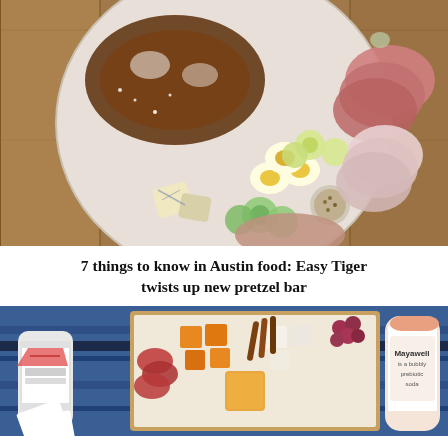[Figure (photo): Overhead view of a charcuterie/grazing board on a wooden butcher block surface. Features a large soft pretzel, deviled eggs, pickled vegetables, sliced deli meats including salami and ham, blue cheese, pate, pickles, mustard seeds in a small bowl, and other accompaniments arranged on a round white marble board.]
7 things to know in Austin food: Easy Tiger twists up new pretzel bar
[Figure (photo): Flatlay photo of a picnic scene showing an open box filled with charcuterie items including orange cheese cubes, white cheese, salami/cured meats, a small cup of orange juice or spread, grapes, and chocolate sticks/cinnamon sticks. Beside the box is a can of beverage on the left and a bottle of Mayawell prebiotic soda on the right, all arranged on a blue striped blanket with a deck of playing cards visible.]